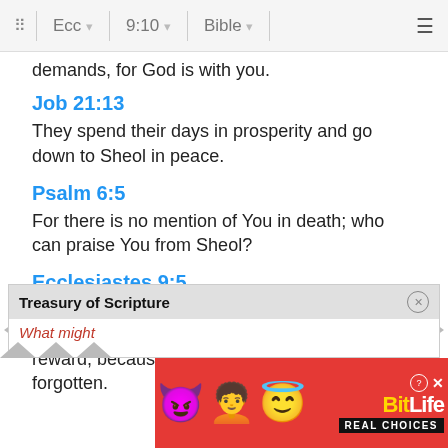Ecc  9:10  Bible
demands, for God is with you.
Job 21:13
They spend their days in prosperity and go down to Sheol in peace.
Psalm 6:5
For there is no mention of You in death; who can praise You from Sheol?
Ecclesiastes 9:5
For the living know that they will die, but the dead know nothing. They have no further reward, because the memory of them is forgotten.
Treasury of Scripture
What might
[Figure (screenshot): BitLife advertisement banner with emoji characters (devil, woman, angel) on red background with BitLife REAL CHOICES branding]